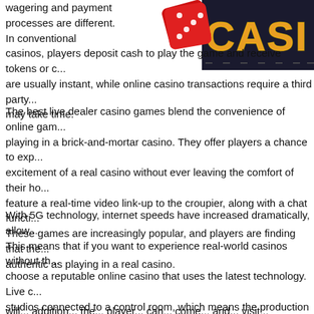[Figure (illustration): Casino logo graphic with red dice and orange neon-style CASINO text on dark background]
wagering and payment processes are different. In conventional casinos, players deposit cash to play the game and receive tokens or c... are usually instant, while online casino transactions require a third party... may take time.
The best live dealer casino games blend the convenience of online gam... playing in a brick-and-mortar casino. They offer players a chance to exp... excitement of a real casino without ever leaving the comfort of their ho... feature a real-time video link-up to the croupier, along with a chat functi... These games are increasingly popular, and players are finding that the... authentic as playing in a real casino.
With 5G technology, internet speeds have increased dramatically, allow... This means that if you want to experience real-world casinos without th... choose a reputable online casino that uses the latest technology. Live c... studios connected to a control room, which means the production crew... happens on the screen. This gives players peace of mind when gambli... excellent option for people who love to watch live sports while playing c...